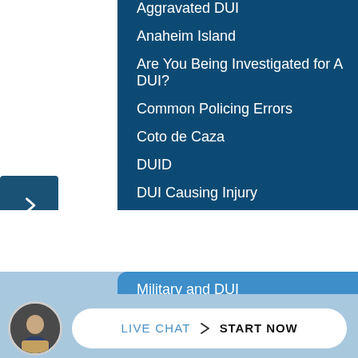Aggravated DUI
Anaheim Island
Are You Being Investigated for A DUI?
Common Policing Errors
Coto de Caza
DUID
DUI Causing Injury
DUI Checkpoints
Military and DUI
Military DUI Diversion P...
LIVE CHAT START NOW